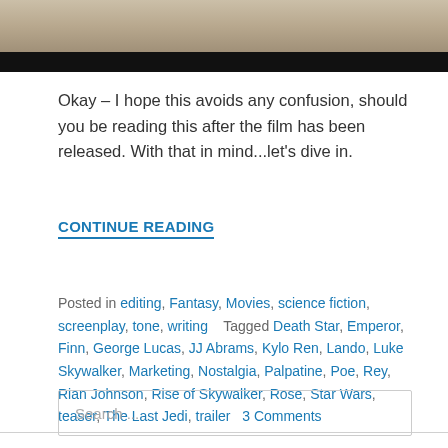[Figure (photo): Partial photo of a person in white clothing at top of page, transitioning to a black bar at the bottom of the image.]
Okay – I hope this avoids any confusion, should you be reading this after the film has been released. With that in mind...let's dive in.
CONTINUE READING
Posted in editing, Fantasy, Movies, science fiction, screenplay, tone, writing    Tagged Death Star, Emperor, Finn, George Lucas, JJ Abrams, Kylo Ren, Lando, Luke Skywalker, Marketing, Nostalgia, Palpatine, Poe, Rey, Rian Johnson, Rise of Skywalker, Rose, Star Wars, teaser, The Last Jedi, trailer    3 Comments
Search ...